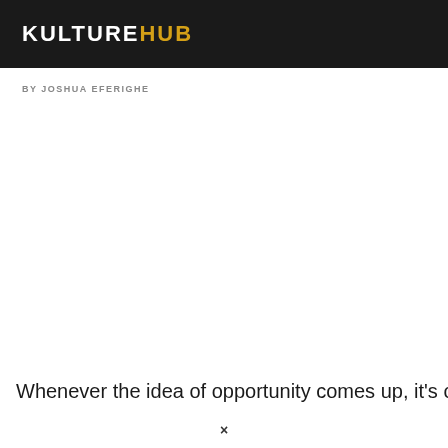KULTUREHUB
BY JOSHUA EFERIGHE
Whenever the idea of opportunity comes up, it's often×